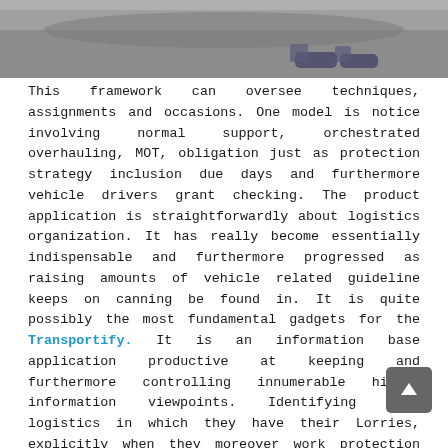[Figure (photo): Partial photograph showing person's legs/feet on a pavement surface, cropped at top of page]
This framework can oversee techniques, assignments and occasions. One model is notice involving normal support, orchestrated overhauling, MOT, obligation just as protection strategy inclusion due days and furthermore vehicle drivers grant checking. The product application is straightforwardly about logistics organization. It has really become essentially indispensable and furthermore progressed as raising amounts of vehicle related guideline keeps on canning be found in. It is quite possibly the most fundamental gadgets for the Transportify. It is an information base application productive at keeping and furthermore controlling innumerable hidden information viewpoints. Identifying with logistics in which they have their Lorries, explicitly when they moreover work protection carports as well as refuelling destinations. This product application may work a logistics' particular web servers or with an application suppliers' ASP servers, which can be gotten to on the web.